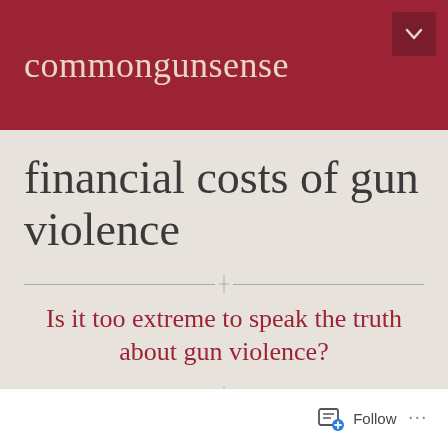commongunsense
financial costs of gun violence
Is it too extreme to speak the truth about gun violence?
september 14, 2019 · commongunsense · american federation of teachers, angry gun guys, ar 15s, assault weapons, assault weapons ban, background checks, brady, businesses support common sense gun legislation, buy-back of assault rifles,
Follow ...